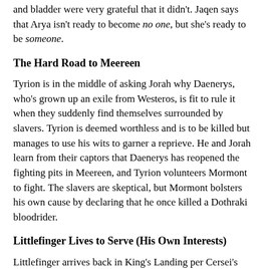and bladder were very grateful that it didn't. Jaqen says that Arya isn't ready to become no one, but she's ready to be someone.
The Hard Road to Meereen
Tyrion is in the middle of asking Jorah why Daenerys, who's grown up an exile from Westeros, is fit to rule it when they suddenly find themselves surrounded by slavers. Tyrion is deemed worthless and is to be killed but manages to use his wits to garner a reprieve. He and Jorah learn from their captors that Daenerys has reopened the fighting pits in Meereen, and Tyrion volunteers Mormont to fight. The slavers are skeptical, but Mormont bolsters his own cause by declaring that he once killed a Dothraki bloodrider.
Littlefinger Lives to Serve (His Own Interests)
Littlefinger arrives back in King's Landing per Cersei's summons and is greeted by Lancel, who informs him of all the work that the Sparrows have done in his absence. Lancel also warns him about his, ahem, business dealings. Littlefinger sits down with Cersei, and they discuss Loras's imprisonment. Renly's theory that he is always off...